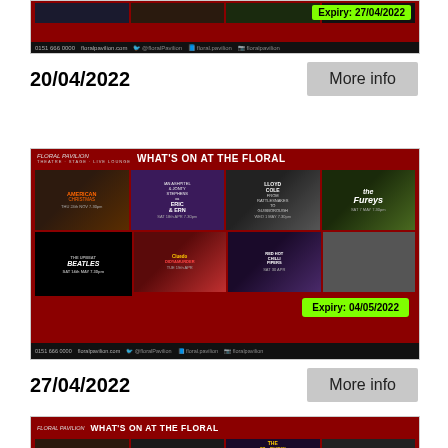[Figure (photo): Floral Pavilion theatre advertisement (partial, top of page) with expiry badge showing 27/04/2022, dark red background with show grid and footer bar with phone number 0151 666 0000 and floralpavilion.com]
20/04/2022
More info
[Figure (photo): Floral Pavilion 'What's On At The Floral' advertisement showing multiple shows: American Christmas, Ian Ashpitel & Jonty Stephens as Eric & Ern, Lloyd Cole From Rattlesnakes to Guisborough, The Fureys, The Upbeat Beatles, Cluedo (Dinomanher?), Red Hot Chilli Pipers, and a group show. Expiry badge shows 04/05/2022. Footer: 0151 666 0000 floralpavilion.com]
27/04/2022
More info
[Figure (photo): Floral Pavilion 'What's On At The Floral' advertisement (partial, bottom of page) showing show grid including The 80s Show and others on dark red background]